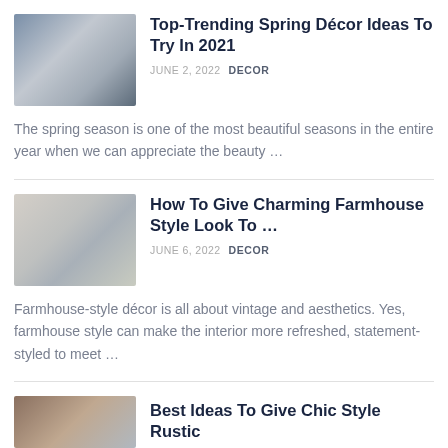[Figure (photo): Thumbnail photo of spring home decor with mirror and fireplace mantel]
Top-Trending Spring Décor Ideas To Try In 2021
JUNE 2, 2022  DECOR
The spring season is one of the most beautiful seasons in the entire year when we can appreciate the beauty …
[Figure (photo): Thumbnail photo of a farmhouse style living room with fireplace]
How To Give Charming Farmhouse Style Look To …
JUNE 6, 2022  DECOR
Farmhouse-style décor is all about vintage and aesthetics. Yes, farmhouse style can make the interior more refreshed, statement-styled to meet …
[Figure (photo): Thumbnail photo for rustic chic style article]
Best Ideas To Give Chic Style Rustic